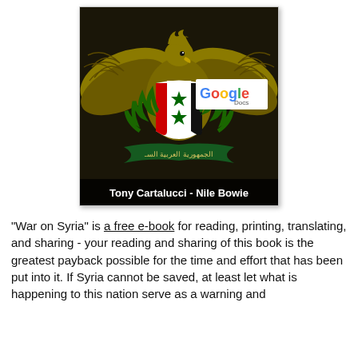[Figure (illustration): Book cover for 'War on Syria' by Tony Cartalucci and Nile Bowie. Dark background with Syrian coat of arms (eagle holding shield with Syrian flag colors, laurel wreath, and Arabic text on banner). Google Docs logo badge in upper right of cover. Author names at bottom: Tony Cartalucci - Nile Bowie.]
"War on Syria"  is a free e-book for reading, printing, translating, and sharing - your reading and sharing of this book is the greatest payback possible for the time and effort that has been put into it. If Syria cannot be saved, at least let what is happening to this nation serve as a warning and